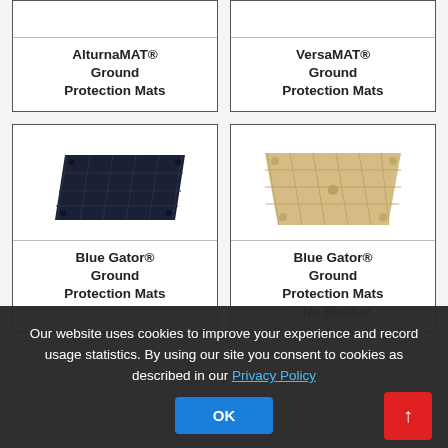[Figure (other): Product card top portion - AlturnaMAT® Ground Protection Mats (partially visible, text label only)]
[Figure (other): Product card top portion - VersaMAT® Ground Protection Mats (partially visible, text label only)]
[Figure (photo): Blue Gator® Ground Protection Mats - dark black/navy rectangular ground protection mat shown at slight angle]
[Figure (photo): Blue Gator® Ground Protection Mats - No Rubber - beige/tan colored rectangular ground protection mat shown at slight angle]
Our website uses cookies to improve your experience and record usage statistics. By using our site you consent to cookies as described in our Privacy Policy
OK